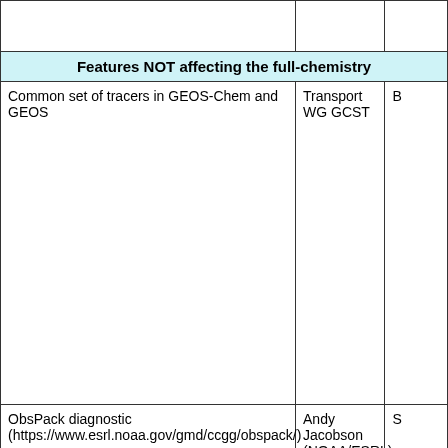| Feature | Lead | B... |
| --- | --- | --- |
| Features NOT affecting the full-chemistry |  |  |
| Common set of tracers in GEOS-Chem and GEOS | Transport WG GCST | B |
| ObsPack diagnostic (https://www.esrl.noaa.gov/gmd/ccgg/obspack/) | Andy Jacobson (NOAA/ESRL) | S |